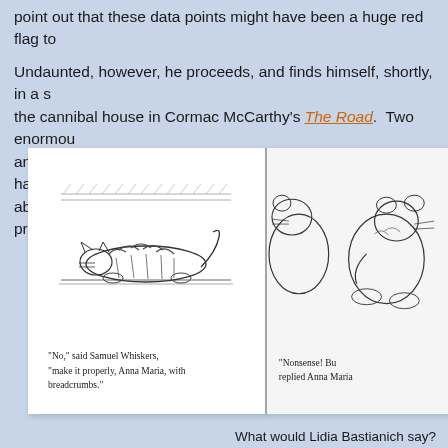point out that these data points might have been a huge red flag to ... Undaunted, however, he proceeds, and finds himself, shortly, in a s... the cannibal house in Cormac McCarthy's The Road. Two enormou... and prepare him to be baked in a pudding. Here's the part I have t... about what ingredients are best used and how he should be prepare...
[Figure (illustration): Two-page spread from a children's book (The Tale of Samuel Whiskers by Beatrix Potter). Left page shows a black-and-white illustration of a cat lying flat on the ground with hatched lines suggesting floorboards or a surface above. Below the illustration is the text: 'No,' said Samuel Whiskers, 'make it properly, Anna Maria, with breadcrumbs.' Right page shows a partial illustration of two rats sitting upright, with partial text: 'Nonsense! Bu... replied Anna Maria...']
What would Lidia Bastianich say?